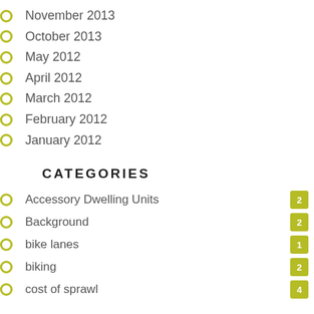November 2013
October 2013
May 2012
April 2012
March 2012
February 2012
January 2012
CATEGORIES
Accessory Dwelling Units 2
Background 2
bike lanes 1
biking 2
cost of sprawl 4